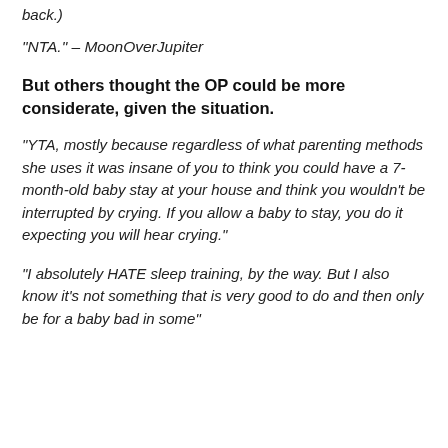back.)
“NTA.” – MoonOverJupiter
But others thought the OP could be more considerate, given the situation.
“YTA, mostly because regardless of what parenting methods she uses it was insane of you to think you could have a 7-month-old baby stay at your house and think you wouldn’t be interrupted by crying. If you allow a baby to stay, you do it expecting you will hear crying.”
“I absolutely HATE sleep training, by the way. But I also know it’s not something that is very good to do and then only be for a baby bad in some”